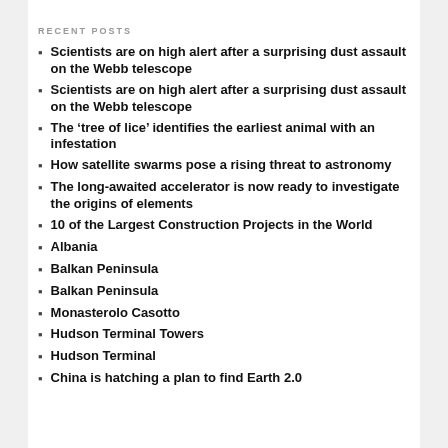RECENT POSTS
Scientists are on high alert after a surprising dust assault on the Webb telescope
Scientists are on high alert after a surprising dust assault on the Webb telescope
The ‘tree of lice’ identifies the earliest animal with an infestation
How satellite swarms pose a rising threat to astronomy
The long-awaited accelerator is now ready to investigate the origins of elements
10 of the Largest Construction Projects in the World
Albania
Balkan Peninsula
Balkan Peninsula
Monasterolo Casotto
Hudson Terminal Towers
Hudson Terminal
China is hatching a plan to find Earth 2.0